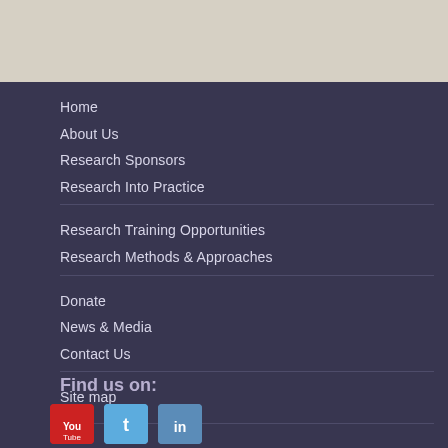Home
About Us
Research Sponsors
Research Into Practice
Research Training Opportunities
Research Methods & Approaches
Donate
News & Media
Contact Us
Site map
Find us on:
[Figure (illustration): Three social media icons: YouTube, Twitter, LinkedIn]